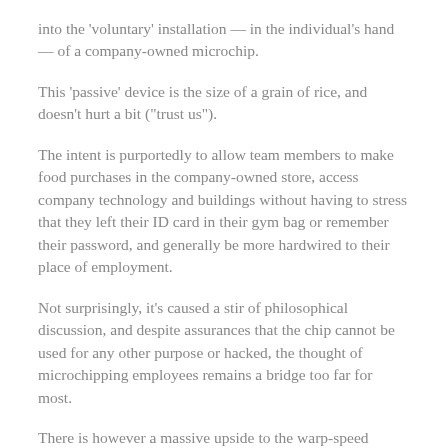into the 'voluntary' installation — in the individual's hand — of a company-owned microchip.
This 'passive' device is the size of a grain of rice, and doesn't hurt a bit ("trust us").
The intent is purportedly to allow team members to make food purchases in the company-owned store, access company technology and buildings without having to stress that they left their ID card in their gym bag or remember their password, and generally be more hardwired to their place of employment.
Not surprisingly, it's caused a stir of philosophical discussion, and despite assurances that the chip cannot be used for any other purpose or hacked, the thought of microchipping employees remains a bridge too far for most.
There is however a massive upside to the warp-speed appearance of ever-evolving technology channels for